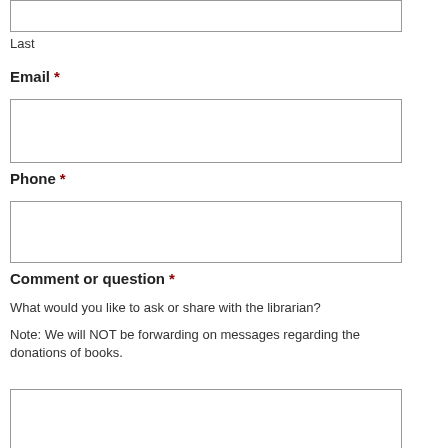Last
Email *
Phone *
Comment or question *
What would you like to ask or share with the librarian?
Note: We will NOT be forwarding on messages regarding the donations of books.